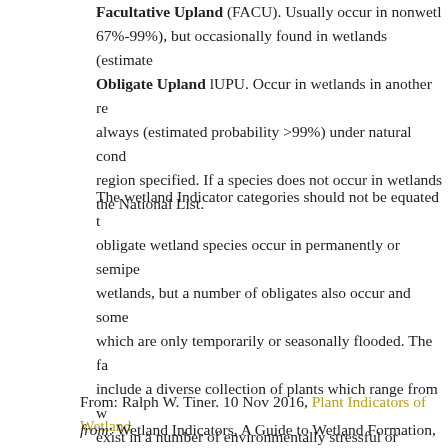Facultative Upland (FACU). Usually occur in nonwetlands (estimated probability 67%-99%), but occasionally found in wetlands (estimated probability 1%-33%). Obligate Upland lUPU. Occur in wetlands in another region, but almost always (estimated probability >99%) under natural conditions in the region specified. If a species does not occur in wetlands in any region, it is placed on the National List.
The wetland Indicator categories should not be equated to wetland types. Most obligate wetland species occur in permanently or semipermanently flooded wetlands, but a number of obligates also occur and some are even dominant in wetlands which are only temporarily or seasonally flooded. The facultative categories include a diverse collection of plants which range from wetland species that also exist in a number of environmentally stressful or disturbed upland habitats to species in which a portion of the gene pool (an ecotype) is adapted to wetlands. Both the weedy and ecotype representatives of a species in this category occur in seasonally and semipermanently flooded wetlands.
From: Ralph W. Tiner. 10 Nov 2016, Plant Indicators of Wetlands from: Wetland Indicators, A Guide to Wetland Formation, Identification...